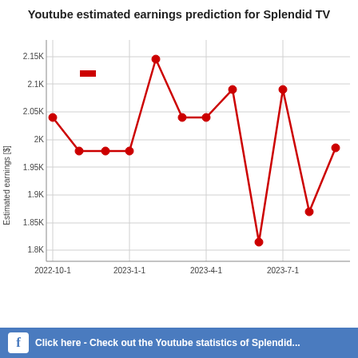Youtube estimated earnings prediction for Splendid TV
[Figure (line-chart): Youtube estimated earnings prediction for Splendid TV]
Click here - Check out the Youtube statistics of Splendid...